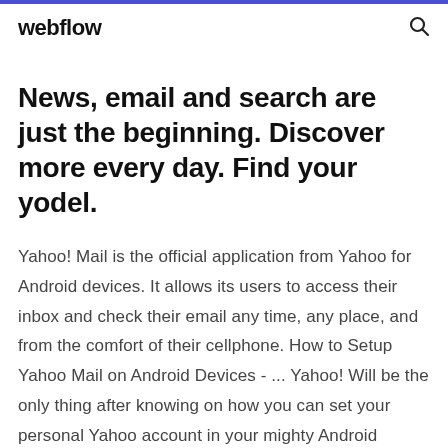webflow
News, email and search are just the beginning. Discover more every day. Find your yodel.
Yahoo! Mail is the official application from Yahoo for Android devices. It allows its users to access their inbox and check their email any time, any place, and from the comfort of their cellphone. How to Setup Yahoo Mail on Android Devices - ... Yahoo! Will be the only thing after knowing on how you can set your personal Yahoo account in your mighty Android phone. With a brilliant expertise from the tables of